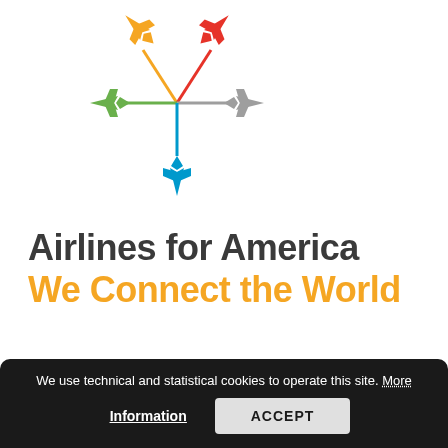[Figure (logo): Airlines for America snowflake logo made of colorful airplane silhouettes arranged in a star/snowflake pattern: orange top-left, red top-right, green left, gray right, blue bottom-center]
Airlines for America
We Connect the World
We use technical and statistical cookies to operate this site. More Information ACCEPT